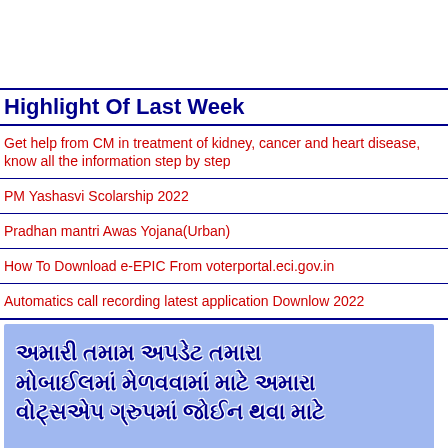Highlight Of Last Week
Get help from CM in treatment of kidney, cancer and heart disease, know all the information step by step
PM Yashasvi Scolarship 2022
Pradhan mantri Awas Yojana(Urban)
How To Download e-EPIC From voterportal.eci.gov.in
Automatics call recording latest application Downlow 2022
[Figure (infographic): Gujarati language promotional banner with blue background encouraging users to join WhatsApp group for updates. Text reads in Gujarati script with WhatsApp icons at the bottom with text 'અહીં ક્લીક કરો'.]